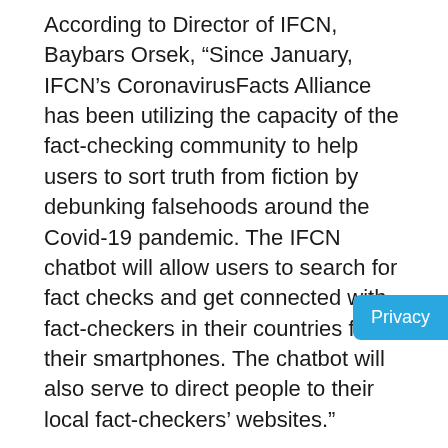According to Director of IFCN, Baybars Orsek, “Since January, IFCN’s CoronavirusFacts Alliance has been utilizing the capacity of the fact-checking community to help users to sort truth from fiction by debunking falsehoods around the Covid-19 pandemic. The IFCN chatbot will allow users to search for fact checks and get connected with fact-checkers in their countries from their smartphones. The chatbot will also serve to direct people to their local fact-checkers’ websites.”
Also, Public Policy manager & Global Election Lead at WhatsApp, Ben Supple said, “WhatsApp recently provided a grant to Poynter’s IFCN to support the valuable work of verified signatories around the world in combating Covid-19 misinformation. We are very pleased to now be able to support IFCN’s essential fact-checking work with the launch of this important service for WhatsApp users. There are now more than 40 IFCN-verified fact-checkers around the world